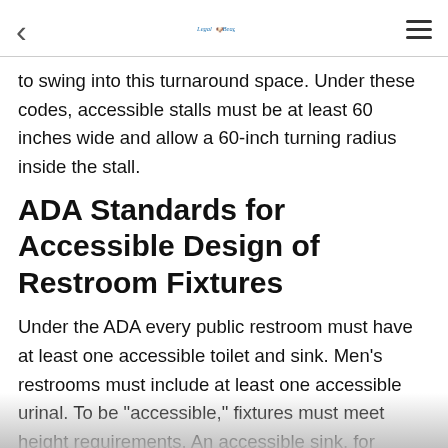Legal Beagle
to swing into this turnaround space. Under these codes, accessible stalls must be at least 60 inches wide and allow a 60-inch turning radius inside the stall.
ADA Standards for Accessible Design of Restroom Fixtures
Under the ADA every public restroom must have at least one accessible toilet and sink. Men's restrooms must include at least one accessible urinal. To be "accessible," fixtures must meet height requirements. An accessible sink, for example, cannot be more than 34 inches from the floor and must have knee clearance below. The seats on